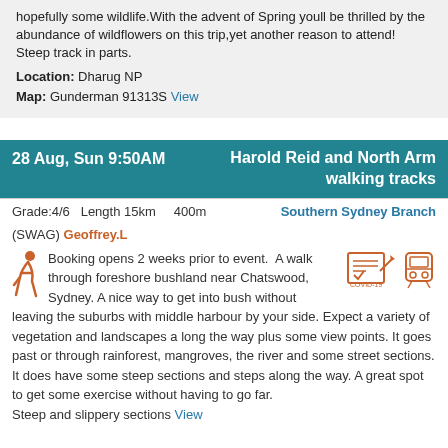hopefully some wildlife.With the advent of Spring youll be thrilled by the abundance of wildflowers on this trip,yet another reason to attend! Steep track in parts.
Location: Dharug NP
Map: Gunderman 91313S View
28 Aug, Sun 9:50AM   Harold Reid and North Arm walking tracks
Grade:4/6  Length 15km  400m    Southern Sydney Branch
(SWAG) Geoffrey.L
Booking opens 2 weeks prior to event. A walk through foreshore bushland near Chatswood, Sydney. A nice way to get into bush without leaving the suburbs with middle harbour by your side. Expect a variety of vegetation and landscapes a long the way plus some view points. It goes past or through rainforest, mangroves, the river and some street sections. It does have some steep sections and steps along the way. A great spot to get some exercise without having to go far. Steep and slippery sections View
28-29 Aug, Sun   Kiama Coast Walk